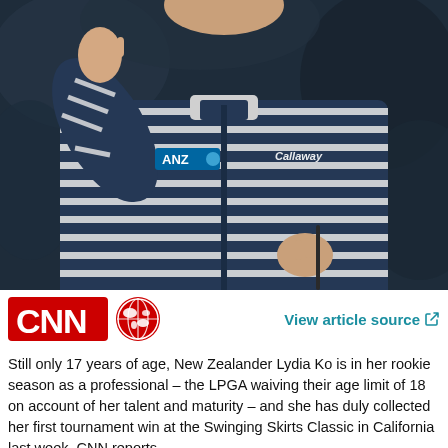[Figure (photo): A young female golfer wearing a navy and white striped zip-up jacket with ANZ and Callaway logos, holding a golf club, waving or shielding her eyes, photographed from the torso up with a blurred dark background.]
[Figure (logo): CNN logo: red rectangle with white CNN text and a red globe icon.]
View article source
Still only 17 years of age, New Zealander Lydia Ko is in her rookie season as a professional – the LPGA waiving their age limit of 18 on account of her talent and maturity – and she has duly collected her first tournament win at the Swinging Skirts Classic in California last week, CNN reports.